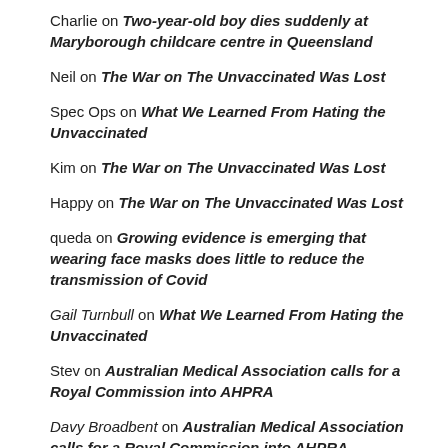Charlie on Two-year-old boy dies suddenly at Maryborough childcare centre in Queensland
Neil on The War on The Unvaccinated Was Lost
Spec Ops on What We Learned From Hating the Unvaccinated
Kim on The War on The Unvaccinated Was Lost
Happy on The War on The Unvaccinated Was Lost
queda on Growing evidence is emerging that wearing face masks does little to reduce the transmission of Covid
Gail Turnbull on What We Learned From Hating the Unvaccinated
Stev on Australian Medical Association calls for a Royal Commission into AHPRA
Davy Broadbent on Australian Medical Association calls for a Royal Commission into AHPRA
Andy S on Growing evidence is emerging that wearing face masks